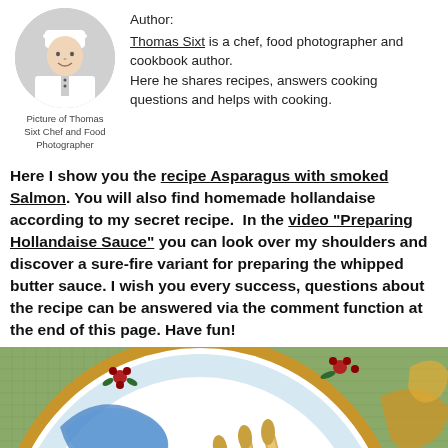[Figure (photo): Circular portrait photo of chef Thomas Sixt in white chef uniform]
Picture of Thomas Sixt Chef and Food Photographer
Author:
Thomas Sixt is a chef, food photographer and cookbook author.
Here he shares recipes, answers cooking questions and helps with cooking.
Here I show you the recipe Asparagus with smoked Salmon. You will also find homemade hollandaise according to my secret recipe. In the video “Preparing Hollandaise Sauce” you can look over my shoulders and discover a sure-fire variant for preparing the whipped butter sauce. I wish you every success, questions about the recipe can be answered via the comment function at the end of this page. Have fun!
[Figure (photo): Close-up food photo of asparagus on a decorative plate with gold, red floral and blue ornate border pattern on a green linen background]